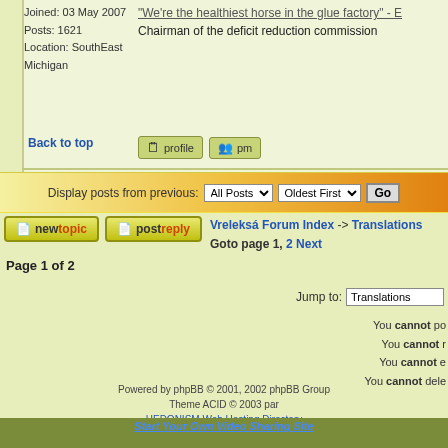Joined: 03 May 2007
Posts: 1621
Location: SouthEast Michigan
"We're the healthiest horse in the glue factory" - E
Chairman of the deficit reduction commission
Back to top
[Figure (screenshot): Profile and PM buttons]
Display posts from previous: All Posts | Oldest First | Go
[Figure (screenshot): New topic and Post reply buttons]
Vreleksá Forum Index -> Translations
Goto page 1, 2 Next
Page 1 of 2
Jump to: Translations
You cannot po
You cannot r
You cannot e
You cannot dele
You canno
Powered by phpBB © 2001, 2002 phpBB Group
Theme ACID © 2003 par HEDONISM Web Hosting Directory
Start Your Own Video Sharing Site
Free Web Hosting | Free Forum Hosting | FlashWebHost.com | Image Hosting |
Photo Gallery | FreeMarriage.com
Powered by PhpBBweb.com, setup your forum now!
For Support, visit Forums.BizHat.com